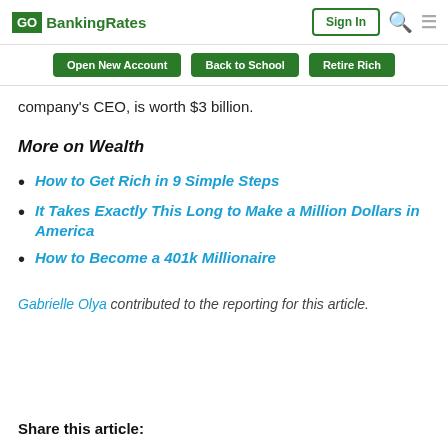GOBankingRates | Sign In
Open New Account | Back to School | Retire Rich
company's CEO, is worth $3 billion.
More on Wealth
How to Get Rich in 9 Simple Steps
It Takes Exactly This Long to Make a Million Dollars in America
How to Become a 401k Millionaire
Gabrielle Olya contributed to the reporting for this article.
Share this article: